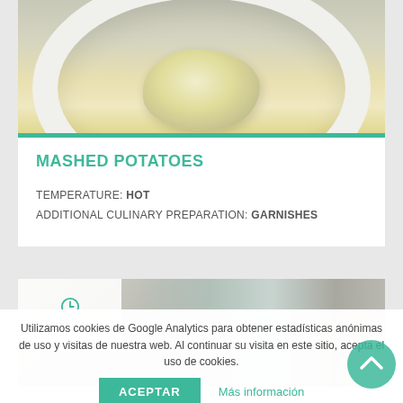[Figure (photo): Photo of mashed potatoes in a white bowl, viewed from above]
MASHED POTATOES
TEMPERATURE: HOT
ADDITIONAL CULINARY PREPARATION: GARNISHES
[Figure (photo): Photo of glass and cutlery with 120 min time badge]
Utilizamos cookies de Google Analytics para obtener estadísticas anónimas de uso y visitas de nuestra web. Al continuar su visita en este sitio, acepta el uso de cookies.
ACEPTAR
Más información